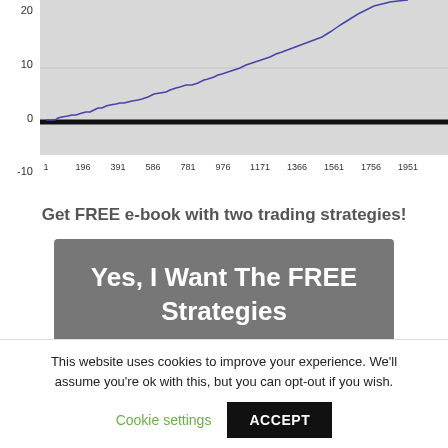[Figure (continuous-plot): Line chart showing a step-like upward trending blue line on a gray background. Y-axis shows values from -10 to 20+. X-axis shows values from 1 to 1951 (196, 391, 586, 781, 976, 1171, 1366, 1561, 1756, 1951). A thick black horizontal line is drawn at y=0. The line generally trends upward from near 0 to about 20.]
Get FREE e-book with two trading strategies!
Yes, I Want The FREE Strategies
This website uses cookies to improve your experience. We'll assume you're ok with this, but you can opt-out if you wish.
Cookie settings
ACCEPT